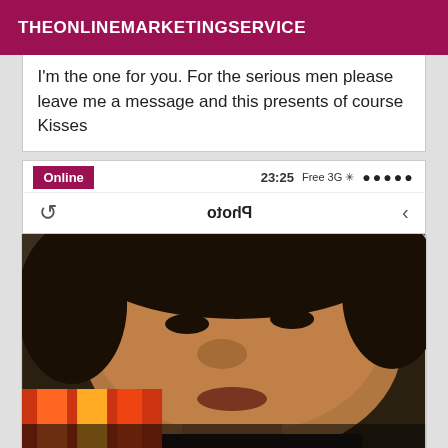THEONLINEMARKETINGSERVICE
I'm the one for you. For the serious men please leave me a message and this presents of course Kisses
[Figure (screenshot): Mobile phone browser UI showing status bar with dots, time 23:25, Free 3G indicators, Online badge, refresh icon, Photo label and arrow navigation]
[Figure (photo): Close-up selfie photo of a young person with dark hair, looking at camera, seated on a colorful red/orange/yellow striped seat, with a window visible in background]